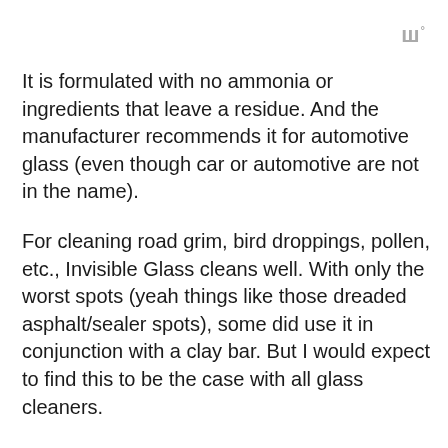w°
It is formulated with no ammonia or ingredients that leave a residue. And the manufacturer recommends it for automotive glass (even though car or automotive are not in the name).
For cleaning road grim, bird droppings, pollen, etc., Invisible Glass cleans well. With only the worst spots (yeah things like those dreaded asphalt/sealer spots), some did use it in conjunction with a clay bar. But I would expect to find this to be the case with all glass cleaners.
While cleaning, some did find the smell to be “chemically” but it dissipated quickly after the